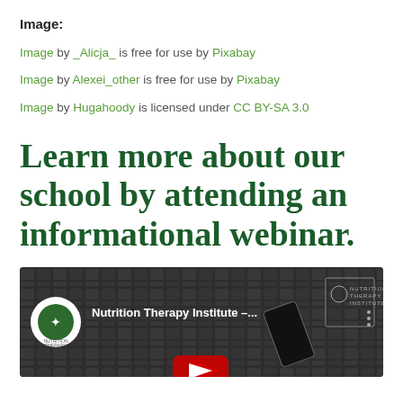Image:
Image by _Alicja_ is free for use by Pixabay
Image by Alexei_other is free for use by Pixabay
Image by Hugahoody is licensed under CC BY-SA 3.0
Learn more about our school by attending an informational webinar.
[Figure (screenshot): YouTube video thumbnail for Nutrition Therapy Institute channel showing a laptop keyboard background with NTI logo and a phone]